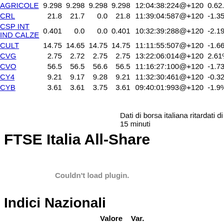| Titolo | Col1 | Col2 | Col3 | Col4 | Timestamp | Var |
| --- | --- | --- | --- | --- | --- | --- |
| AGRICOLE | 9.298 | 9.298 | 9.298 | 9.298 | 12:04:38:224@+120 | 0.62... |
| CRL | 21.8 | 21.7 | 0.0 | 21.8 | 11:39:04:587@+120 | -1.35... |
| CSP INT IND CALZE | 0.401 | 0.0 | 0.0 | 0.401 | 10:32:39:288@+120 | -2.19... |
| CULT | 14.75 | 14.65 | 14.75 | 14.75 | 11:11:55:507@+120 | -1.66... |
| CVG | 2.75 | 2.72 | 2.75 | 2.75 | 13:22:06:014@+120 | 2.61% |
| CVO | 56.5 | 56.5 | 56.6 | 56.5 | 11:16:27:100@+120 | -1.73... |
| CY4 | 9.21 | 9.17 | 9.28 | 9.21 | 11:32:30:461@+120 | -0.32... |
| CYB | 3.61 | 3.61 | 3.75 | 3.61 | 09:40:01:993@+120 | -1.9% |
Dati di borsa italiana ritardati di 15 minuti
FTSE Italia All-Share
[Figure (other): Couldn't load plugin.]
Indici Nazionali
Valore    Var.